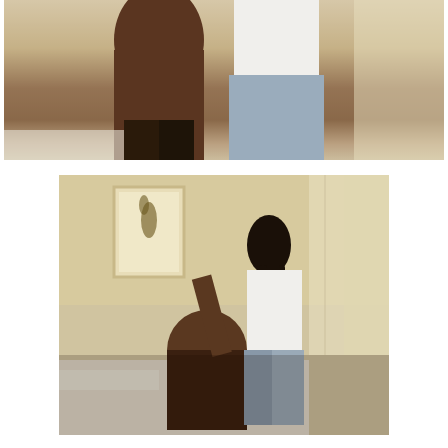[Figure (photo): Cropped photo showing two people from behind in a bedroom setting, partial torsos visible]
[Figure (photo): Photo of two people in a bedroom setting, one shirtless individual sitting on bed with another person in jeans standing nearby]
(HealthDay)—Many drugs—both prescription and over-the-counter—can cause side effects like dizziness or upset stomach. But some can affect you in surprising